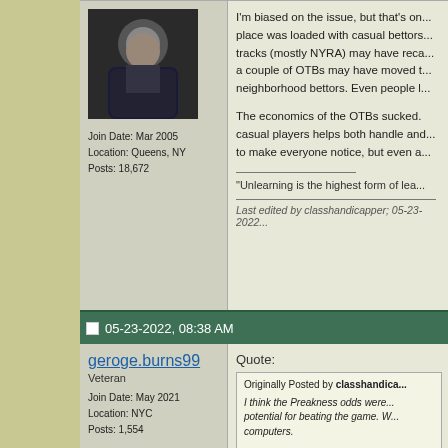[Figure (photo): Avatar photo of a man in a suit holding a sword, movie still style, dark background]
Join Date: Mar 2005
Location: Queens, NY
Posts: 18,672
I'm biased on the issue, but that's on... place was loaded with casual bettors... tracks (mostly NYRA) may have reca... a couple of OTBs may have moved t... neighborhood bettors. Even people l...
The economics of the OTBs sucked. casual players helps both handle and... to make everyone notice, but even a...
"Unlearning is the highest form of lea...
Last edited by classhandicapper; 05-23-2022...
05-23-2022, 08:38 AM
geroge.burns99
Veteran
Join Date: May 2021
Location: NYC
Posts: 1,554
Quote:
Originally Posted by classhandica... I think the Preakness odds were... potential for beating the game. W... computers.

I'm biased on the issue, but that... That place was loaded with casu... dropped out. The tracks (mostly... more. Some of the handle from a...